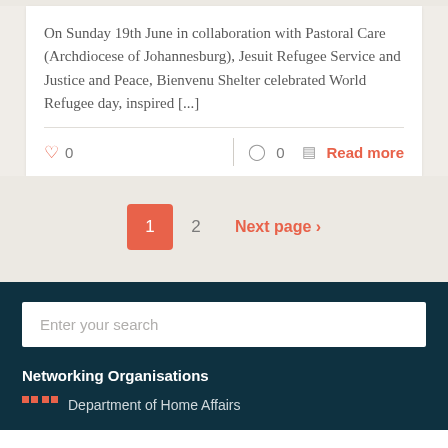On Sunday 19th June in collaboration with Pastoral Care (Archdiocese of Johannesburg), Jesuit Refugee Service and Justice and Peace, Bienvenu Shelter celebrated World Refugee day, inspired [...]
0  0  Read more
1  2  Next page ›
Enter your search
Networking Organisations
Department of Home Affairs